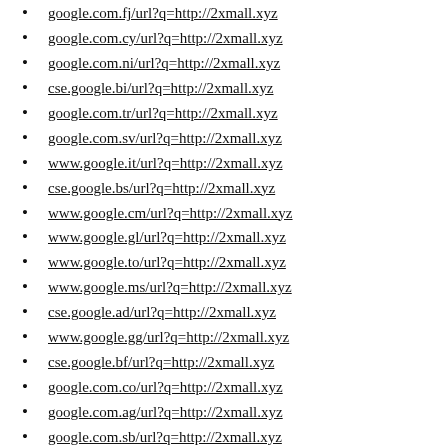google.com.fj/url?q=http://2xmall.xyz
google.com.cy/url?q=http://2xmall.xyz
google.com.ni/url?q=http://2xmall.xyz
cse.google.bi/url?q=http://2xmall.xyz
google.com.tr/url?q=http://2xmall.xyz
google.com.sv/url?q=http://2xmall.xyz
www.google.it/url?q=http://2xmall.xyz
cse.google.bs/url?q=http://2xmall.xyz
www.google.cm/url?q=http://2xmall.xyz
www.google.gl/url?q=http://2xmall.xyz
www.google.to/url?q=http://2xmall.xyz
www.google.ms/url?q=http://2xmall.xyz
cse.google.ad/url?q=http://2xmall.xyz
www.google.gg/url?q=http://2xmall.xyz
cse.google.bf/url?q=http://2xmall.xyz
google.com.co/url?q=http://2xmall.xyz
google.com.ag/url?q=http://2xmall.xyz
google.com.sb/url?q=http://2xmall.xyz
www.google.vu/url?q=http://2xmall.xyz